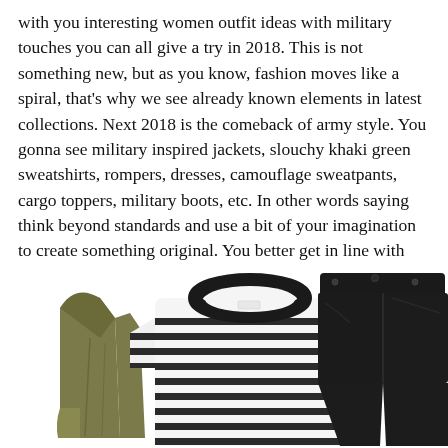with you interesting women outfit ideas with military touches you can all give a try in 2018. This is not something new, but as you know, fashion moves like a spiral, that's why we see already known elements in latest collections. Next 2018 is the comeback of army style. You gonna see military inspired jackets, slouchy khaki green sweatshirts, rompers, dresses, camouflage sweatpants, cargo toppers, military boots, etc. In other words saying think beyond standards and use a bit of your imagination to create something original. You better get in line with 2018 military trend, just take a close-up look through these stunning army ideas and let me know your thoughts in the comments below.
[Figure (photo): Flat lay of military-style women's outfit pieces: olive green jacket on the left, black-and-white horizontally striped t-shirt in the center, and black skinny jeans on the right, all on a white background.]